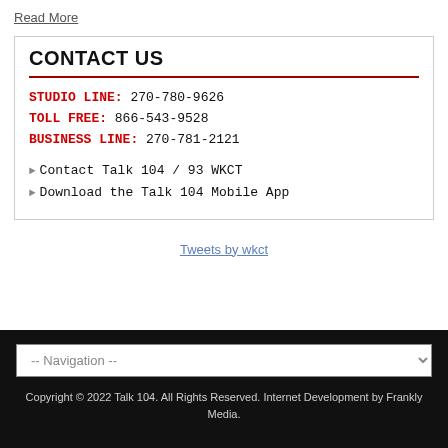Read More
CONTACT US
STUDIO LINE: 270-780-9626
TOLL FREE: 866-543-9528
BUSINESS LINE: 270-781-2121
Contact Talk 104 / 93 WKCT
Download the Talk 104 Mobile App
Tweets by wkct
Copyright © 2022 Talk 104. All Rights Reserved. Internet Development by Frankly Media.